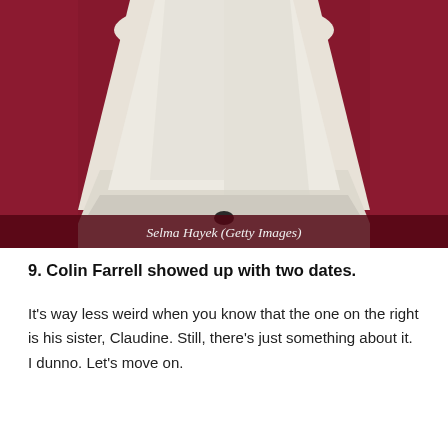[Figure (photo): Close-up photo of a person wearing a white flowing gown/dress on a red carpet background. The lower portion of the dress is visible against a deep red/crimson background.]
Selma Hayek (Getty Images)
9. Colin Farrell showed up with two dates.
It's way less weird when you know that the one on the right is his sister, Claudine. Still, there's just something about it. I dunno. Let's move on.